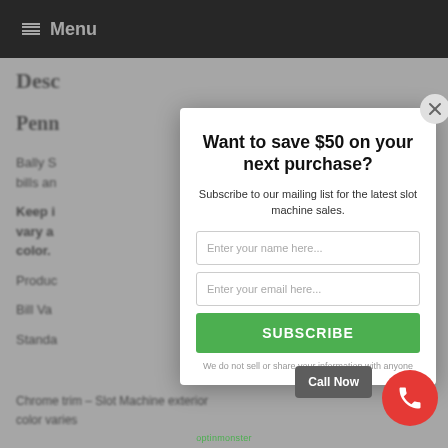Menu
Desc
Penn
Bally S... bills an...
Keep i... vary a... color.
Produc
Bill Va
Standa
Chrome trim – Slot Machine exterior color varies
Want to save $50 on your next purchase?
Subscribe to our mailing list for the latest slot machine sales.
Enter your name here...
Enter your email here...
SUBSCRIBE
We do not sell or share your information with anyone
Call Now